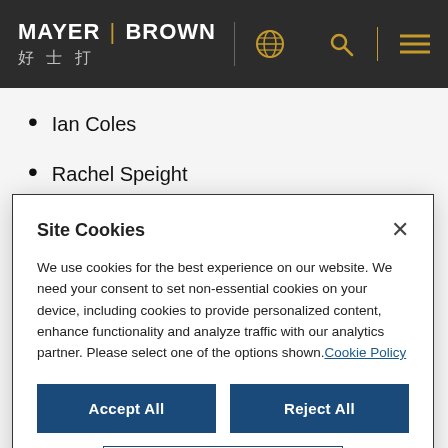MAYER | BROWN 好士打
Ian Coles
Rachel Speight
Site Cookies
We use cookies for the best experience on our website. We need your consent to set non-essential cookies on your device, including cookies to provide personalized content, enhance functionality and analyze traffic with our analytics partner. Please select one of the options shown. Cookie Policy
Accept All
Reject All
Manage Options